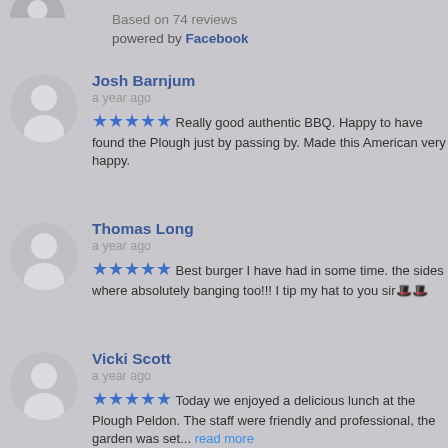[Figure (photo): Partial avatar image at top left, cropped]
Based on 74 reviews
powered by Facebook
Josh Barnjum
a year ago
★★★★★ Really good authentic BBQ. Happy to have found the Plough just by passing by. Made this American very happy.
Thomas Long
a year ago
★★★★★ Best burger I have had in some time. the sides where absolutely banging too!!! I tip my hat to you sir🎩
Vicki Scott
a year ago
★★★★★ Today we enjoyed a delicious lunch at the Plough Peldon. The staff were friendly and professional, the garden was set... read more